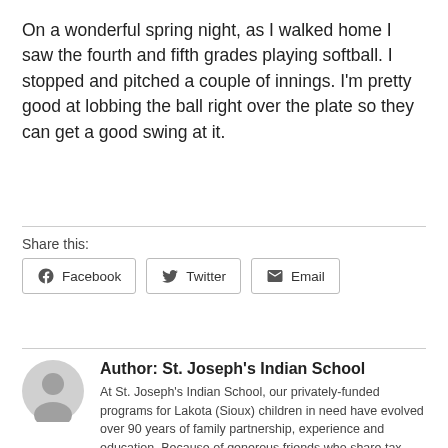On a wonderful spring night, as I walked home I saw the fourth and fifth grades playing softball. I stopped and pitched a couple of innings. I'm pretty good at lobbing the ball right over the plate so they can get a good swing at it.
Share this:
[Figure (other): Three sharing buttons: Facebook, Twitter, Email]
Author: St. Joseph's Indian School
At St. Joseph's Indian School, our privately-funded programs for Lakota (Sioux) children in need have evolved over 90 years of family partnership, experience and education. Because of generous friends who share tax-deductible donations, Native American youth receive a safe, stable home